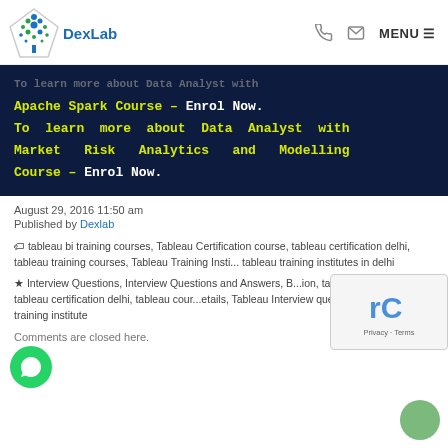DexLab | MENU
[Figure (screenshot): Dark navy banner with yellow and white text: Apache Spark Course – Enrol Now. To learn more about Data Analyst with Market Risk Analytics and Modelling Course – Enrol Now.]
August 29, 2016 11:50 am
Published by Dexlab
tableau bi training courses, Tableau Certification course, tableau certification delhi, tableau training courses, Tableau Training Insti..., tableau training institutes in delhi
Interview Questions, Interview Questions and Answers, B...ion, tableau certification, tableau certification delhi, tableau cour...etails, Tableau Interview questions, tableau training institute
Comments are closed here.